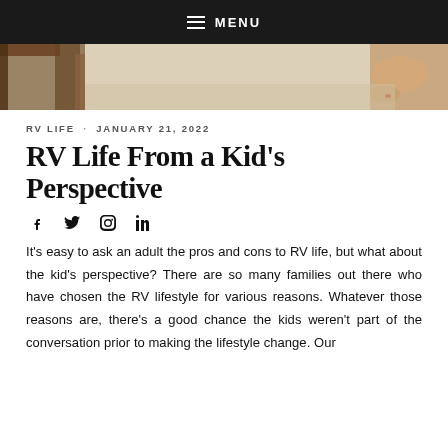MENU
[Figure (photo): Partial hero image showing wooden furniture and bare feet on a sandy surface]
RV LIFE · JANUARY 21, 2022
RV Life From a Kid's Perspective
[Figure (other): Social media share icons: Facebook, Twitter, Pinterest, LinkedIn]
It's easy to ask an adult the pros and cons to RV life, but what about the kid's perspective? There are so many families out there who have chosen the RV lifestyle for various reasons. Whatever those reasons are, there's a good chance the kids weren't part of the conversation prior to making the lifestyle change. Our